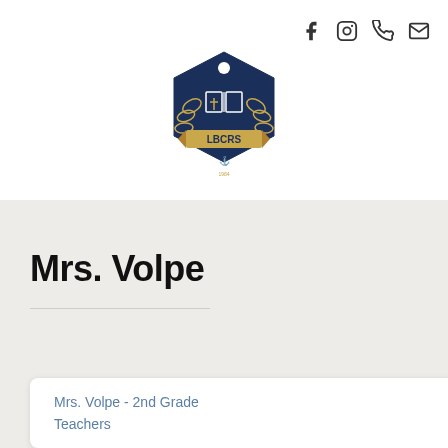[Figure (logo): LBCRS school shield logo in navy blue and gold, featuring an open book with a cross, laurel wreath, anchor, and the text LBCRS]
Mrs. Volpe
Mrs. Volpe - 2nd Grade
Teachers